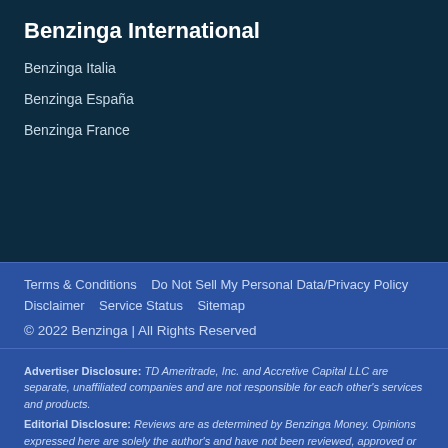Benzinga International
Benzinga Italia
Benzinga España
Benzinga France
Terms & Conditions   Do Not Sell My Personal Data/Privacy Policy   Disclaimer   Service Status   Sitemap
© 2022 Benzinga | All Rights Reserved
Advertiser Disclosure: TD Ameritrade, Inc. and Accretive Capital LLC are separate, unaffiliated companies and are not responsible for each other's services and products.
Editorial Disclosure: Reviews are as determined by Benzinga Money. Opinions expressed here are solely the author's and have not been reviewed, approved or otherwise endorsed by reviewers.